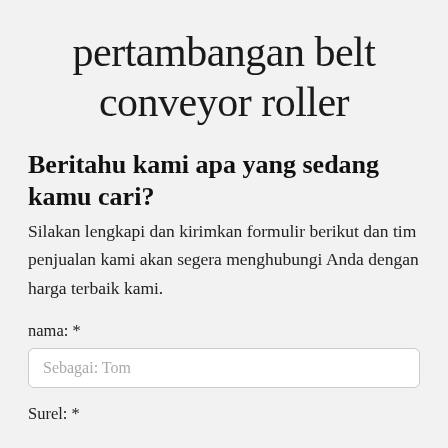pertambangan belt conveyor roller
Beritahu kami apa yang sedang kamu cari?
Silakan lengkapi dan kirimkan formulir berikut dan tim penjualan kami akan segera menghubungi Anda dengan harga terbaik kami.
nama: *
Sebagai: Tom
Surel: *